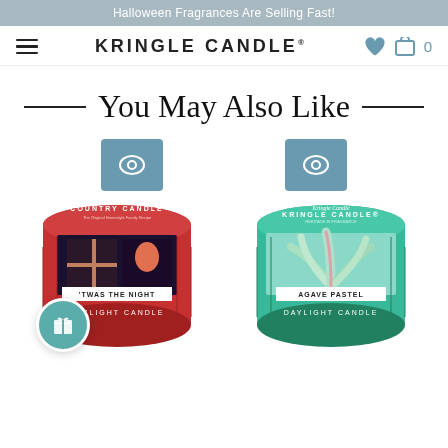Halloween Fragrances Are Selling Fast!
KRINGLE CANDLE®
You May Also Like
[Figure (photo): Red Country Candle tin labeled 'TWAS THE NIGHT Daylight Candle with Christmas scene]
[Figure (photo): Teal Kringle Candle tin labeled AGAVE PASTEL Daylight Candle with agave plant scene]